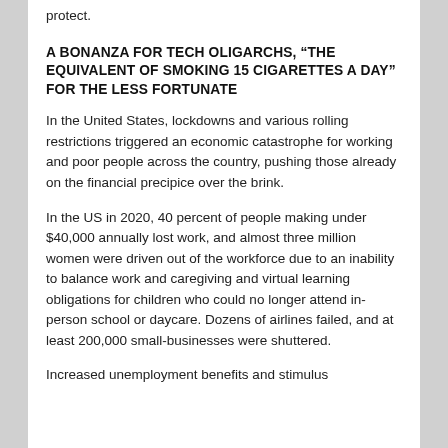protect.
A BONANZA FOR TECH OLIGARCHS, “THE EQUIVALENT OF SMOKING 15 CIGARETTES A DAY” FOR THE LESS FORTUNATE
In the United States, lockdowns and various rolling restrictions triggered an economic catastrophe for working and poor people across the country, pushing those already on the financial precipice over the brink.
In the US in 2020, 40 percent of people making under $40,000 annually lost work, and almost three million women were driven out of the workforce due to an inability to balance work and caregiving and virtual learning obligations for children who could no longer attend in-person school or daycare. Dozens of airlines failed, and at least 200,000 small-businesses were shuttered.
Increased unemployment benefits and stimulus